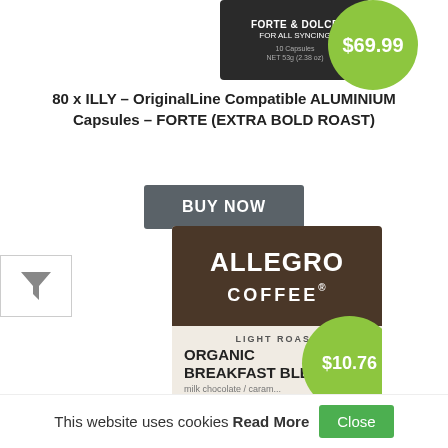[Figure (photo): Product image top portion with $69.99 green price bubble (partially visible at top)]
80 x ILLY – OriginalLine Compatible ALUMINIUM Capsules – FORTE (EXTRA BOLD ROAST)
[Figure (other): BUY NOW dark grey button]
[Figure (other): Filter funnel icon button on left side]
[Figure (photo): Allegro Coffee Organic Breakfast Blend Light Roast product image with $10.76 green price bubble]
This website uses cookies Read More Close